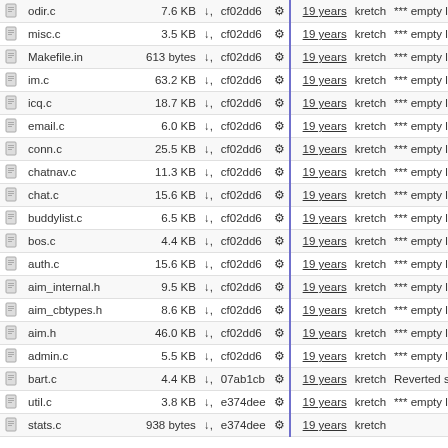|  | filename | size |  | commit |  | age | author | message |
| --- | --- | --- | --- | --- | --- | --- | --- | --- |
|  | odir.c | 7.6 KB | ↓ | cf02dd6 | ⚙ | 19 years | kretch | *** empty l |
|  | misc.c | 3.5 KB | ↓ | cf02dd6 | ⚙ | 19 years | kretch | *** empty l |
|  | Makefile.in | 613 bytes | ↓ | cf02dd6 | ⚙ | 19 years | kretch | *** empty l |
|  | im.c | 63.2 KB | ↓ | cf02dd6 | ⚙ | 19 years | kretch | *** empty l |
|  | icq.c | 18.7 KB | ↓ | cf02dd6 | ⚙ | 19 years | kretch | *** empty l |
|  | email.c | 6.0 KB | ↓ | cf02dd6 | ⚙ | 19 years | kretch | *** empty l |
|  | conn.c | 25.5 KB | ↓ | cf02dd6 | ⚙ | 19 years | kretch | *** empty l |
|  | chatnav.c | 11.3 KB | ↓ | cf02dd6 | ⚙ | 19 years | kretch | *** empty l |
|  | chat.c | 15.6 KB | ↓ | cf02dd6 | ⚙ | 19 years | kretch | *** empty l |
|  | buddylist.c | 6.5 KB | ↓ | cf02dd6 | ⚙ | 19 years | kretch | *** empty l |
|  | bos.c | 4.4 KB | ↓ | cf02dd6 | ⚙ | 19 years | kretch | *** empty l |
|  | auth.c | 15.6 KB | ↓ | cf02dd6 | ⚙ | 19 years | kretch | *** empty l |
|  | aim_internal.h | 9.5 KB | ↓ | cf02dd6 | ⚙ | 19 years | kretch | *** empty l |
|  | aim_cbtypes.h | 8.6 KB | ↓ | cf02dd6 | ⚙ | 19 years | kretch | *** empty l |
|  | aim.h | 46.0 KB | ↓ | cf02dd6 | ⚙ | 19 years | kretch | *** empty l |
|  | admin.c | 5.5 KB | ↓ | cf02dd6 | ⚙ | 19 years | kretch | *** empty l |
|  | bart.c | 4.4 KB | ↓ | 07ab1cb | ⚙ | 19 years | kretch | Reverted s |
|  | util.c | 3.8 KB | ↓ | e374dee | ⚙ | 19 years | kretch | *** empty l |
|  | stats.c | 938 bytes | ↓ | e374dee | ⚙ | 19 years | kretch |  |